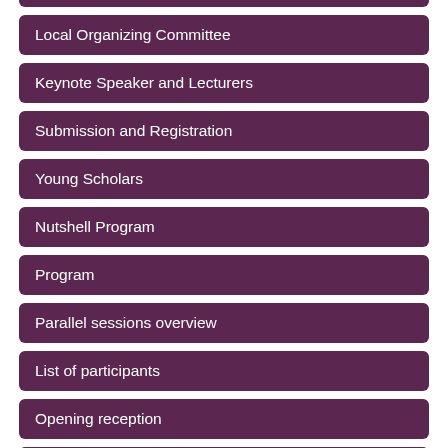Local Organizing Committee
Keynote Speaker and Lecturers
Submission and Registration
Young Scholars
Nutshell Program
Program
Parallel sessions overview
List of participants
Opening reception